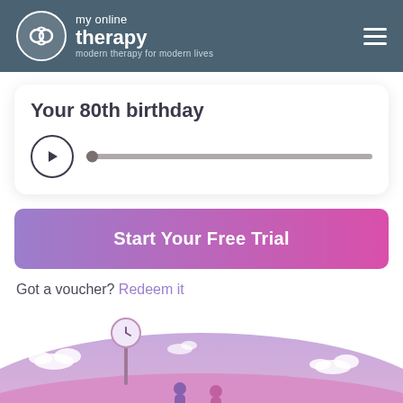[Figure (logo): My Online Therapy logo with circular icon and tagline 'modern therapy for modern lives' in header]
Your 80th birthday
[Figure (other): Audio player with play button and progress bar]
Start Your Free Trial
Got a voucher? Redeem it
[Figure (illustration): Illustrated landscape scene with clouds, a clock on a pole, and figures in pink/purple tones]